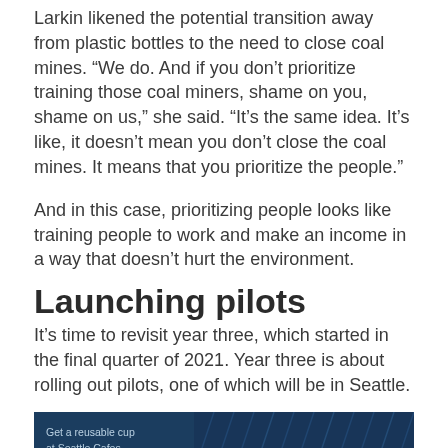Larkin likened the potential transition away from plastic bottles to the need to close coal mines. “We do. And if you don’t prioritize training those coal miners, shame on you, shame on us,” she said. “It’s the same idea. It’s like, it doesn’t mean you don’t close the coal mines. It means that you prioritize the people.”
And in this case, prioritizing people looks like training people to work and make an income in a way that doesn’t hurt the environment.
Launching pilots
It’s time to revisit year three, which started in the final quarter of 2021. Year three is about rolling out pilots, one of which will be in Seattle.
[Figure (photo): Promotional image with dark navy blue background showing text 'Get a reusable cup at Seattle Cafes' with a decorative background pattern on the right side]